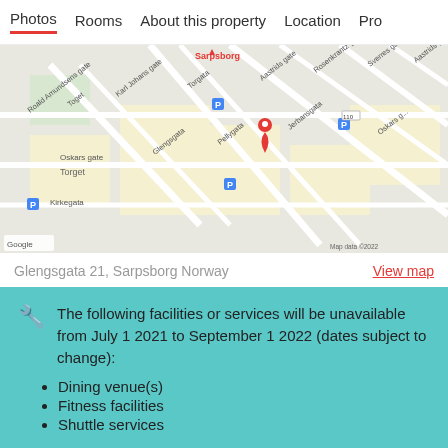Photos  Rooms  About this property  Location  Pro
[Figure (map): Google Maps view of Sarpsborg, Norway showing Glengsgata area with a red location pin, street names including Torget, Karl Johans gate, Torgata, Pellygata, Kirkegata, Glengsgata, Oskars gate, Jerbansgata, Rosenkrantz gate, Sverre gate, and others. Map data ©2022.]
Glengsgata 21, Sarpsborg Norway
View map
The following facilities or services will be unavailable from July 1 2021 to September 1 2022 (dates subject to change):
Dining venue(s)
Fitness facilities
Shuttle services